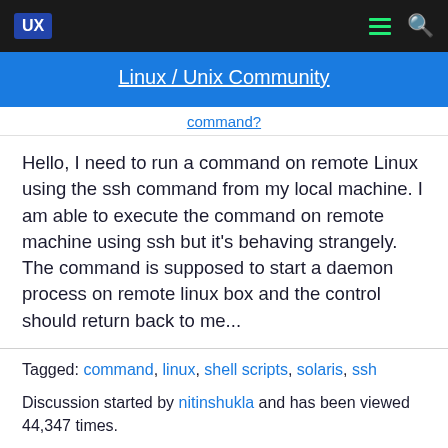UX | Linux / Unix Community
Linux / Unix Community
command?
Hello, I need to run a command on remote Linux using the ssh command from my local machine. I am able to execute the command on remote machine using ssh but it's behaving strangely. The command is supposed to start a daemon process on remote linux box and the control should return back to me...
Tagged: command, linux, shell scripts, solaris, ssh
Discussion started by nitinshukla and has been viewed 44,347 times.